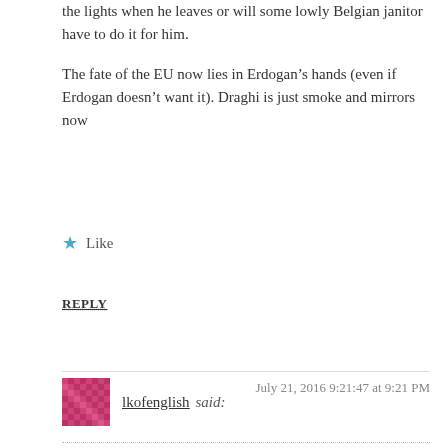the lights when he leaves or will some lowly Belgian janitor have to do it for him.
The fate of the EU now lies in Erdogan’s hands (even if Erdogan doesn’t want it). Draghi is just smoke and mirrors now
★ Like
REPLY
lkofenglish said: July 21, 2016 9:21:47 at 9:21 PM
First off none of what is being written about at “Mishtalk” in anyway matters of you are an American citizen. And I mean ABSOLUTELY NONE.
Having said that and since any discussion that is purely academic can in fact be true then let us suppository for a minute and wanderlust “what if Germany were to Brexit?” Clearly that is the insinuation of all of these written “machinations”…that at some point in the FUTURE the entire EU is going to go “boom” and be gone…and the euro and all associated valuations to “it” will